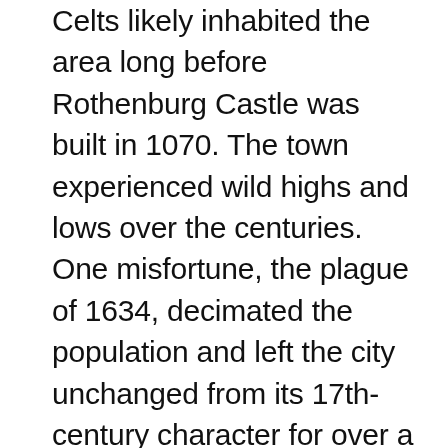Celts likely inhabited the area long before Rothenburg Castle was built in 1070. The town experienced wild highs and lows over the centuries. One misfortune, the plague of 1634, decimated the population and left the city unchanged from its 17th-century character for over a hundred years. Artists and tourists began recognizing the unique historic charm in the town and began preserving the architecture and history. Because of this, Rothenburg was mostly spared destruction in World War II. Given the option of abandoning the city or having it razed by artillery, German commander Major Thömmes ignored orders and surrendered the town to save it. Today Rothenburg ob der Tauber is a marvel that welcomes over 2.5